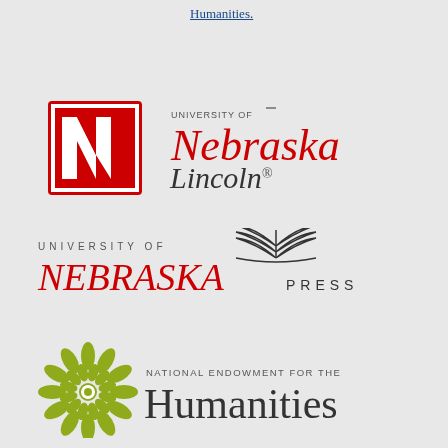Humanities.
[Figure (logo): University of Nebraska-Lincoln logo: red block N on the left, and 'University of Nebraska Lincoln' wordmark on the right]
[Figure (logo): University of Nebraska Press logo with open book icon and text 'UNIVERSITY OF NEBRASKA PRESS']
[Figure (logo): National Endowment for the Humanities logo with green decorative circular flower icon and text 'NATIONAL ENDOWMENT FOR THE Humanities']